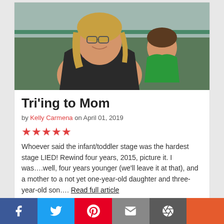[Figure (photo): A smiling woman with blonde hair wearing a black tank top and purple strap, holding a young child in a green shirt at what appears to an outdoor event or triathlon.]
Tri'ing to Mom
by Kelly Carmena on April 01, 2019
★★★★★
Whoever said the infant/toddler stage was the hardest stage LIED! Rewind four years, 2015, picture it. I was….well, four years younger (we'll leave it at that), and a mother to a not yet one-year-old daughter and three-year-old son…. Read full article